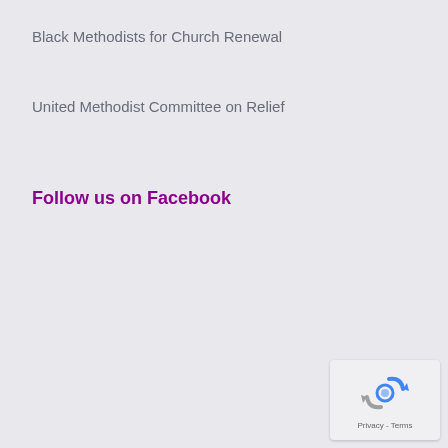Black Methodists for Church Renewal
United Methodist Committee on Relief
Follow us on Facebook
[Figure (other): reCAPTCHA widget with circular arrows icon and Privacy - Terms footer text]